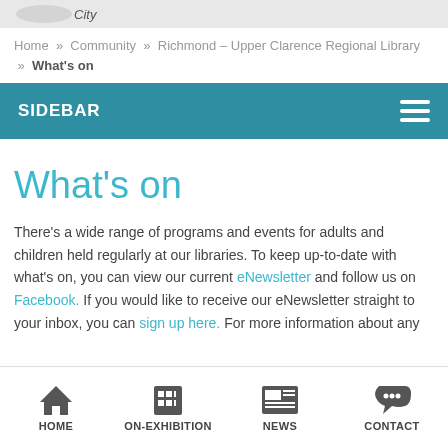[Figure (logo): Partial library logo at top]
Home » Community » Richmond – Upper Clarence Regional Library » What's on
SIDEBAR
What's on
There's a wide range of programs and events for adults and children held regularly at our libraries. To keep up-to-date with what's on, you can view our current eNewsletter and follow us on Facebook. If you would like to receive our eNewsletter straight to your inbox, you can sign up here. For more information about any
HOME | ON-EXHIBITION | NEWS | CONTACT